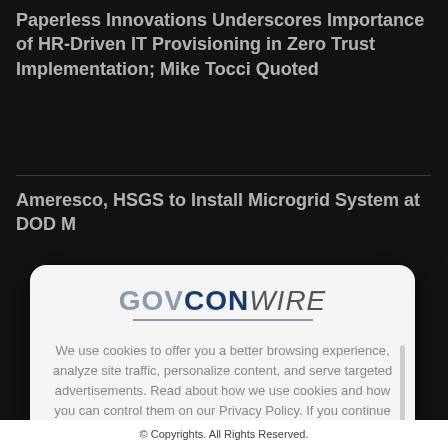Paperless Innovations Underscores Importance of HR-Driven IT Provisioning in Zero Trust Implementation; Mike Tocci Quoted
Ameresco, HSGS to Install Microgrid System at DOD M…
[Figure (logo): GovConWire logo — GOVCON in bold blue/gray, WIRE in italic gray, with a horizontal underline]
We use cookies to offer you a better browsing experience, analyze site traffic, personalize content, and serve targeted advertisements. Read about how we use cookies and how you can control them on our Privacy Policy. If you continue to use this site, you consent to our use of cookies.
© Copyrights. All Rights Reserved.